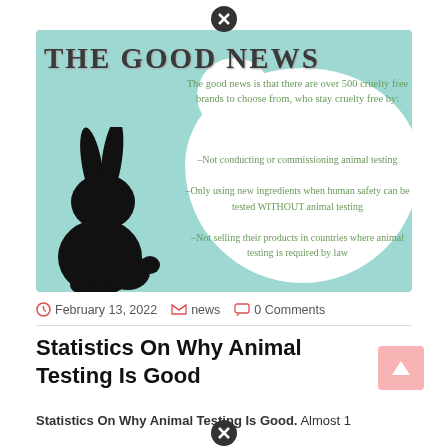[Figure (infographic): Teal/mint green infographic titled 'THE GOOD NEWS' with a white cloud bubble listing 3 cruelty-free brand commitments, and a black rabbit silhouette on the left.]
February 13, 2022   news   0 Comments
Statistics On Why Animal Testing Is Good
Statistics On Why Animal Testing Is Good. Almost 1